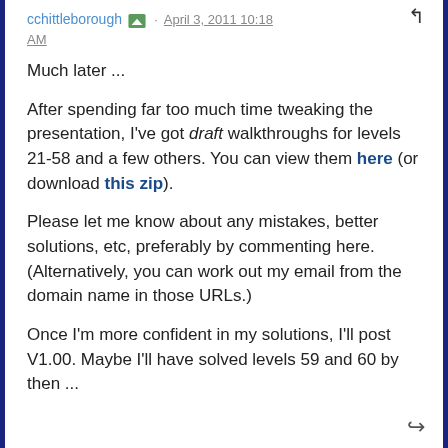cchittleborough · April 3, 2011 10:18 AM
Much later ...
After spending far too much time tweaking the presentation, I've got draft walkthroughs for levels 21-58 and a few others. You can view them here (or download this zip).
Please let me know about any mistakes, better solutions, etc, preferably by commenting here. (Alternatively, you can work out my email from the domain name in those URLs.)
Once I'm more confident in my solutions, I'll post V1.00. Maybe I'll have solved levels 59 and 60 by then ...